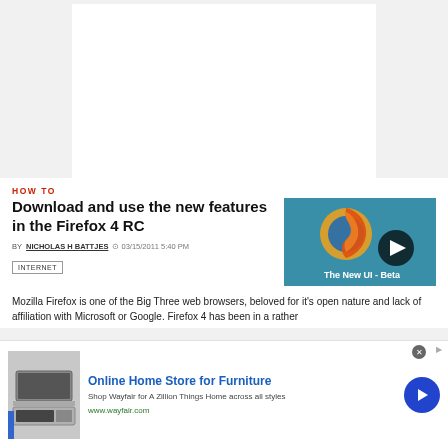[Figure (other): White banner/ad space at top of page on gray background]
HOW TO
Download and use the new features in the Firefox 4 RC
[Figure (screenshot): Firefox 4 browser thumbnail with play button overlay, showing The New UI - Beta text on teal background]
BY NICHOLAS H BATTJES  03/15/2011 5:40 PM
INTERNET
Mozilla Firefox is one of the Big Three web browsers, beloved for it's open nature and lack of affiliation with Microsoft or Google. Firefox 4 has been in a rather
[Figure (other): Wayfair advertisement: Online Home Store for Furniture. Shop Wayfair for A Zillion Things Home across all styles. www.wayfair.com]